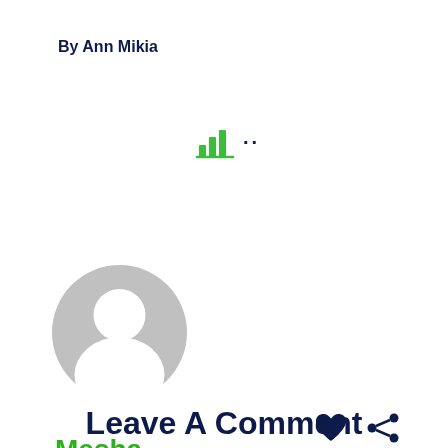By Ann Mikia
[Figure (other): Bar chart icon (green) with two dots, UI element]
[Figure (other): Circular grey avatar/profile placeholder icon with silhouette of a person]
[Figure (other): Heart (like) icon and share icon in dark navy]
Mesha
[Figure (other): Dashed yellow/gold horizontal line separator]
[Figure (other): Dark grey rounded square button with crescent moon icon (dark mode toggle)]
Leave A Comment